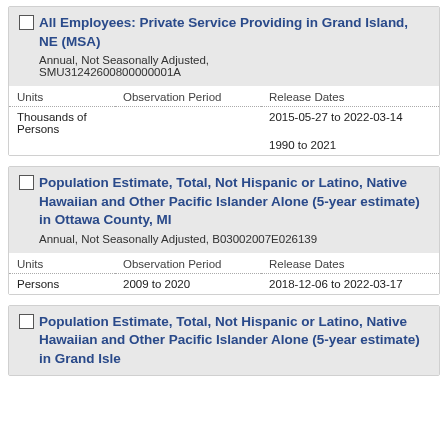All Employees: Private Service Providing in Grand Island, NE (MSA)
Annual, Not Seasonally Adjusted, SMU31242600800000001A
| Units | Observation Period | Release Dates |
| --- | --- | --- |
| Thousands of Persons |  | 2015-05-27 to 2022-03-14 |
|  |  | 1990 to 2021 |
Population Estimate, Total, Not Hispanic or Latino, Native Hawaiian and Other Pacific Islander Alone (5-year estimate) in Ottawa County, MI
Annual, Not Seasonally Adjusted, B03002007E026139
| Units | Observation Period | Release Dates |
| --- | --- | --- |
| Persons | 2009 to 2020 | 2018-12-06 to 2022-03-17 |
Population Estimate, Total, Not Hispanic or Latino, Native Hawaiian and Other Pacific Islander Alone (5-year estimate) in Grand Isle